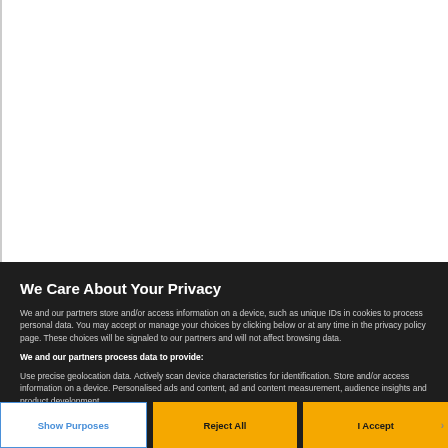We Care About Your Privacy
We and our partners store and/or access information on a device, such as unique IDs in cookies to process personal data. You may accept or manage your choices by clicking below or at any time in the privacy policy page. These choices will be signaled to our partners and will not affect browsing data.
We and our partners process data to provide:
Use precise geolocation data. Actively scan device characteristics for identification. Store and/or access information on a device. Personalised ads and content, ad and content measurement, audience insights and product development.
List of Partners (vendors)